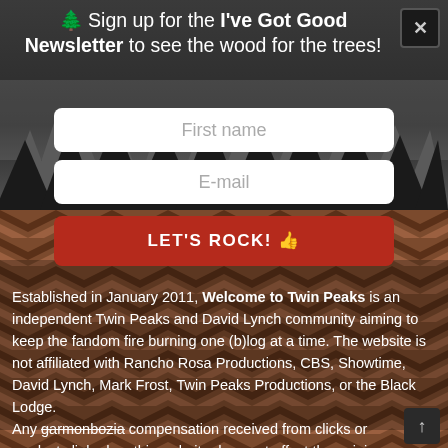🌲 Sign up for the I've Got Good Newsletter to see the wood for the trees!
[Figure (screenshot): Newsletter sign-up modal with forest/dark background, two input fields (First name, E-mail), a red LET'S ROCK! button, and a close X button.]
ABOUT WTTP
Established in January 2011, Welcome to Twin Peaks is an independent Twin Peaks and David Lynch community aiming to keep the fandom fire burning one (b)log at a time. The website is not affiliated with Rancho Rosa Productions, CBS, Showtime, David Lynch, Mark Frost, Twin Peaks Productions, or the Black Lodge.
Any garmonbozia compensation received from clicks or products linked on this website does not affect the opinions